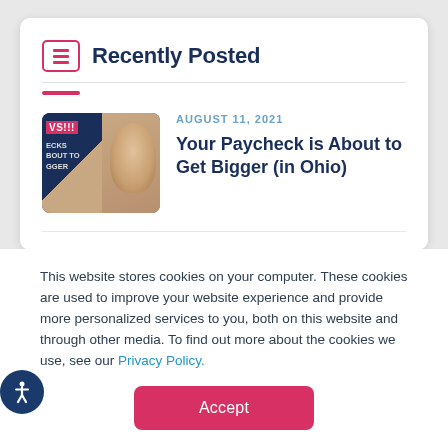Recently Posted
[Figure (photo): Thumbnail image showing a news article with text 'VS!!!' and 'ECKS BOUT TO GGER' overlaid on a close-up photo, with a pink/red accent border]
AUGUST 11, 2021
Your Paycheck is About to Get Bigger (in Ohio)
This website stores cookies on your computer. These cookies are used to improve your website experience and provide more personalized services to you, both on this website and through other media. To find out more about the cookies we use, see our Privacy Policy.
Accept